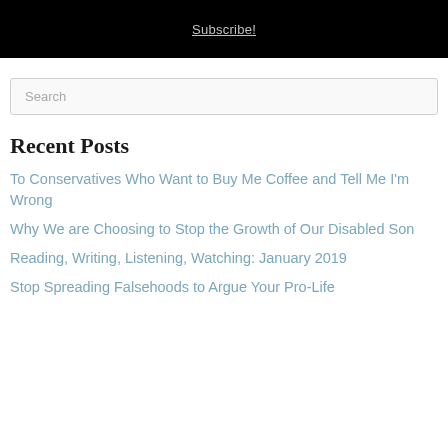Subscribe!
Search
Recent Posts
To Conservatives Who Want to Buy Me Coffee and Tell Me I'm Wrong
Why We are Choosing to Stop the Growth of Our Disabled Son
Reading, Writing, Listening, Watching: January 2019
Stop Spreading Falsehoods to Argue Your Pro-Life